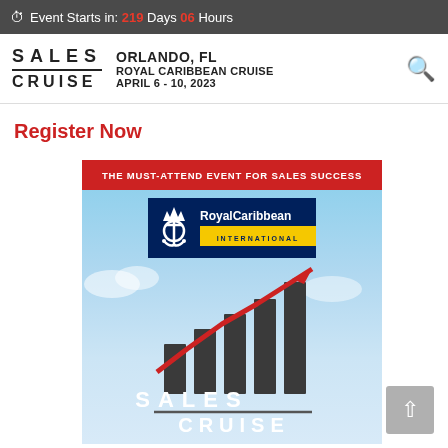Event Starts in: 219 Days 06 Hours
SALES CRUISE — ORLANDO, FL — ROYAL CARIBBEAN CRUISE — APRIL 6 - 10, 2023
Register Now
[Figure (illustration): Sales Cruise promotional poster with Royal Caribbean cruise logo on a sky background, bar chart with rising red arrow graphic, text reading SALES CRUISE ORLANDO, FL APRIL 6 - 10, 2023, with red top banner THE MUST-ATTEND EVENT FOR SALES SUCCESS]